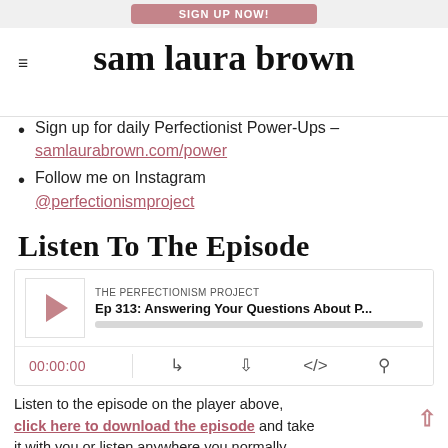[Figure (screenshot): Pink/rose SIGN UP NOW button banner at top of page]
sam laura brown
Sign up for daily Perfectionist Power-Ups – samlaurabrown.com/power
Follow me on Instagram @perfectionismproject
Listen To The Episode
[Figure (screenshot): Podcast player widget showing THE PERFECTIONISM PROJECT, Ep 313: Answering Your Questions About P..., with play button, progress bar, time 00:00:00, and player controls]
Listen to the episode on the player above, click here to download the episode and take it with you or listen anywhere you normally